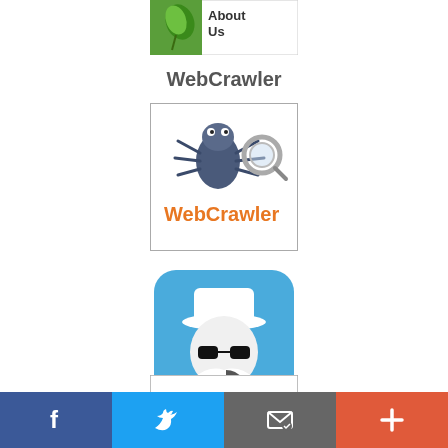[Figure (logo): AboutUs logo partially visible at top of page, green leaf with white text on green background]
WebCrawler
[Figure (logo): WebCrawler logo: cartoon spider/bug with magnifying glass, orange text 'WebCrawler' on white background with border]
[Figure (logo): Incognito detective app icon: blue rounded-square with white cartoon figure wearing hat and sunglasses]
[Figure (logo): InBrowser logo partial: text 'InBrowser' in italic serif font, 'Android Private Browsing' below, inside bordered box]
[Figure (infographic): Social sharing bar at bottom: Facebook (blue), Twitter (blue), Email/newsletter (grey), More/plus (orange-red)]